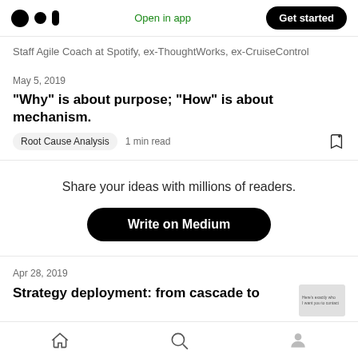Open in app | Get started
Staff Agile Coach at Spotify, ex-ThoughtWorks, ex-CruiseControl
May 5, 2019
“Why” is about purpose; “How” is about mechanism.
Root Cause Analysis  1 min read
Share your ideas with millions of readers.
Write on Medium
Apr 28, 2019
Strategy deployment: from cascade to
Home  Search  Profile